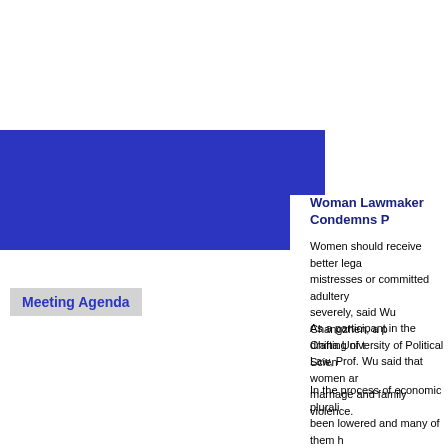[Figure (other): Blue rectangular graphic block on the left side of the page]
Meeting Agenda
Woman Lawmaker Condemns P
Women should receive better legal protection when their husbands keep mistresses or committed adultery should be punished more severely, said Wu Changzhen, a professor at China University of Political Science...
As a participant in the drafting of the Marriage Law, Prof. Wu said that women are victims of marriage and family violence.
In the process of economic pluralization, women's status has been lowered and many of them have been abandoned by their husbands, said Prof. Wu, who is h... the Ninth CPPCC National Comm...